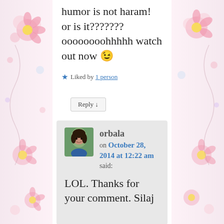humor is not haram! or is it??????? oooooooohhhhh watch out now 😉
★ Liked by 1 person
Reply ↓
orbala on October 28, 2014 at 12:22 am said:
LOL. Thanks for your comment. Silaj